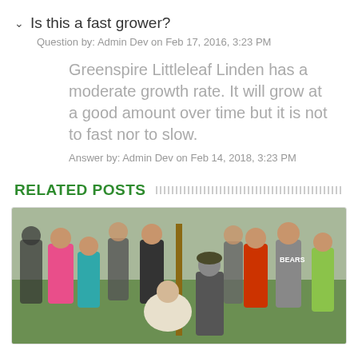Is this a fast grower?
Question by: Admin Dev on Feb 17, 2016, 3:23 PM
Greenspire Littleleaf Linden has a moderate growth rate. It will grow at a good amount over time but it is not to fast nor to slow.
Answer by: Admin Dev on Feb 14, 2018, 3:23 PM
RELATED POSTS
[Figure (photo): Children gathered around a young tree sapling being planted in a grassy field, several kids and adults looking on.]